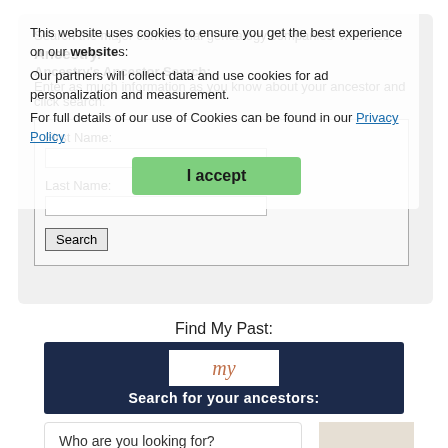[Figure (screenshot): Ancestry.com search interface with cookie consent overlay. Cookie notice says 'This website uses cookies to ensure you get the best experience on our website' and 'Our partners will collect data and use cookies for ad personalization and measurement. For full details of our use of Cookies can be found in our Privacy Policy'. Green 'I accept' button. Behind: Ancestry's Ancestor Search form with First Name and Last Name fields and Search button.]
Find My Past:
[Figure (screenshot): FindMyPast banner with dark navy background, white box with cursive 'my' logo, and text 'Search for your ancestors:']
[Figure (screenshot): FindMyPast search form showing 'Who are you looking for?' with a 'First name' input field. Beige/tan image on the right side.]